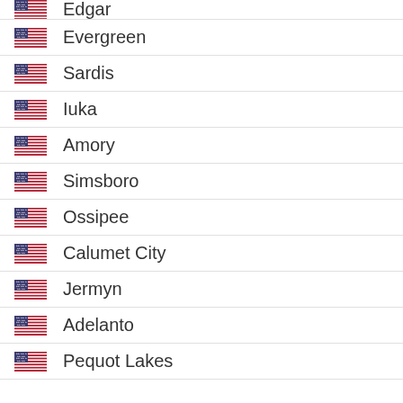Edgar
Evergreen
Sardis
Iuka
Amory
Simsboro
Ossipee
Calumet City
Jermyn
Adelanto
Pequot Lakes